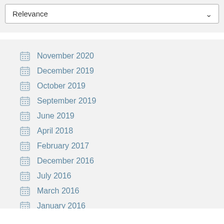Relevance (dropdown)
November 2020
December 2019
October 2019
September 2019
June 2019
April 2018
February 2017
December 2016
July 2016
March 2016
January 2016 (partial)